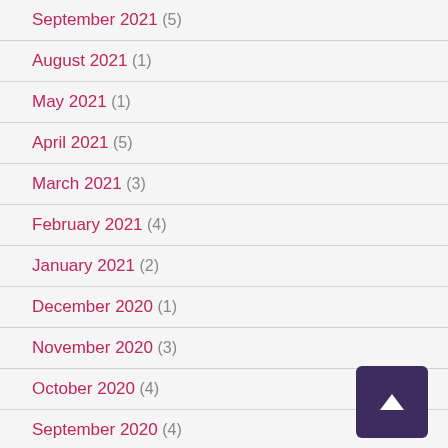September 2021 (5)
August 2021 (1)
May 2021 (1)
April 2021 (5)
March 2021 (3)
February 2021 (4)
January 2021 (2)
December 2020 (1)
November 2020 (3)
October 2020 (4)
September 2020 (4)
August 2020 (2)